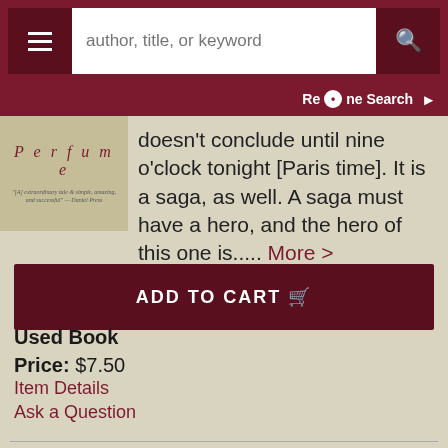author, title, or keyword [search bar with hamburger menu and search button]
Refine Search
[Figure (photo): Book cover of 'Perfume' with italic title text and a small quote below]
doesn't conclude until nine o'clock tonight [Paris time]. It is a saga, as well. A saga must have a hero, and the hero of this one is..... More >
ADD TO CART
Used Book
Price: $7.50
Item Details
Ask a Question